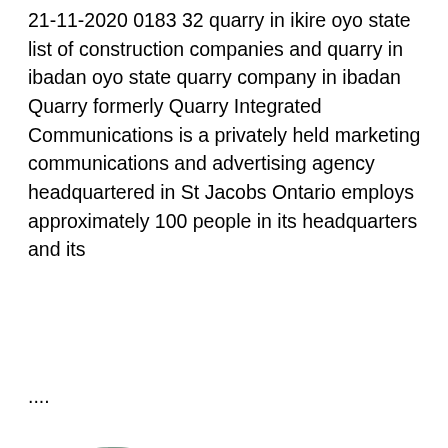21-11-2020 0183 32 quarry in ikire oyo state list of construction companies and quarry in ibadan oyo state quarry company in ibadan Quarry formerly Quarry Integrated Communications is a privately held marketing communications and advertising agency headquartered in St Jacobs Ontario employs approximately 100 people in its headquarters and its
....
[Figure (photo): Oval/elliptical shaped photo of a construction site or building interior with scaffolding]
Ratcon Construction Company
Know More
Quarry In Ikire Oyo State Whatever your requirements, you ll find the perfect service-oriented solution to match your specific needs with our helpWe are here for your questions anytime 24/7, welcome your consultation...